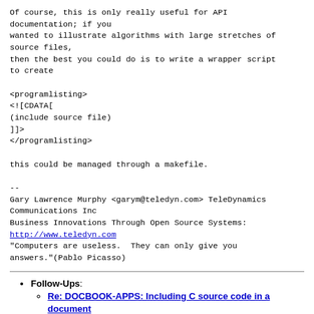Of course, this is only really useful for API
documentation; if you
wanted to illustrate algorithms with large stretches of
source files,
then the best you could do is to write a wrapper script
to create

<programlisting>
<![CDATA[
(include source file)
]]>
</programlisting>

this could be managed through a makefile.

--
Gary Lawrence Murphy <garym@teledyn.com> TeleDynamics
Communications Inc
Business Innovations Through Open Source Systems:
http://www.teledyn.com
"Computers are useless.  They can only give you
answers."(Pablo Picasso)
Follow-Ups: Re: DOCBOOK-APPS: Including C source code in a document — From: Jorge Godoy <godoy@conectiva.com>